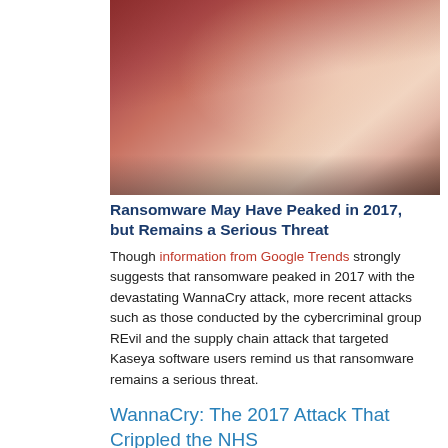[Figure (photo): Person sitting at a computer with a red ransomware screen displayed, appearing stressed, with brick wall background and keyboard in foreground]
Ransomware May Have Peaked in 2017, but Remains a Serious Threat
Though information from Google Trends strongly suggests that ransomware peaked in 2017 with the devastating WannaCry attack, more recent attacks such as those conducted by the cybercriminal group REvil and the supply chain attack that targeted Kaseya software users remind us that ransomware remains a serious threat.
WannaCry: The 2017 Attack That Crippled the NHS